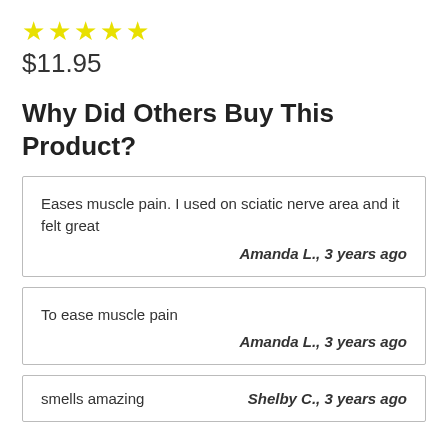[Figure (other): Five yellow star rating icons]
$11.95
Why Did Others Buy This Product?
Eases muscle pain. I used on sciatic nerve area and it felt great
Amanda L., 3 years ago
To ease muscle pain
Amanda L., 3 years ago
smells amazing
Shelby C., 3 years ago